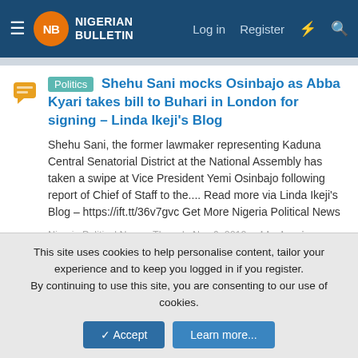Nigerian Bulletin — Log in  Register
Politics  Shehu Sani mocks Osinbajo as Abba Kyari takes bill to Buhari in London for signing – Linda Ikeji's Blog
Shehu Sani, the former lawmaker representing Kaduna Central Senatorial District at the National Assembly has taken a swipe at Vice President Yemi Osinbajo following report of Chief of Staff to the.... Read more via Linda Ikeji's Blog – https://ift.tt/36v7gvc Get More Nigeria Political News
Nigeria Political News · Thread · Nov 6, 2019 · abba kyari news   kaduna state news   linda ikeji's blog news   muhammadu buhari news   naija news today 061119   nigeria politics news   shehu sani news   yemi osinbajo news ·   Replies: 0 · Forum: Political News
This site uses cookies to help personalise content, tailor your experience and to keep you logged in if you register.
By continuing to use this site, you are consenting to our use of cookies.